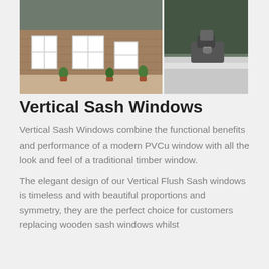[Figure (photo): Two photos side by side: left photo shows a traditional brick stone house exterior with white vertical sash windows and potted plants on a paved patio; right photo shows a close-up of a window latch/lock mechanism on a white PVCu frame with green foliage in background.]
Vertical Sash Windows
Vertical Sash Windows combine the functional benefits and performance of a modern PVCu window with all the look and feel of a traditional timber window.
The elegant design of our Vertical Flush Sash windows is timeless and with beautiful proportions and symmetry, they are the perfect choice for customers replacing wooden sash windows whilst